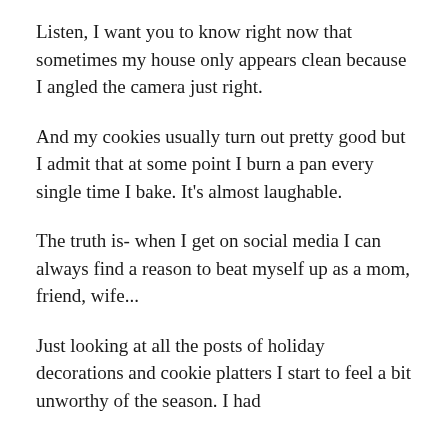Listen, I want you to know right now that sometimes my house only appears clean because I angled the camera just right.
And my cookies usually turn out pretty good but I admit that at some point I burn a pan every single time I bake. It's almost laughable.
The truth is- when I get on social media I can always find a reason to beat myself up as a mom, friend, wife...
Just looking at all the posts of holiday decorations and cookie platters I start to feel a bit unworthy of the season. I had